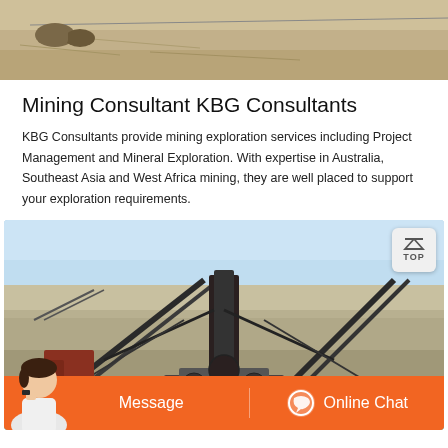[Figure (photo): Top portion of a mining site photo showing sandy/rocky ground with a thin rod or wire visible, cropped at top]
Mining Consultant KBG Consultants
KBG Consultants provide mining exploration services including Project Management and Mineral Exploration. With expertise in Australia, Southeast Asia and West Africa mining, they are well placed to support your exploration requirements.
[Figure (photo): Mining site with industrial conveyor belt equipment and machinery in a desert landscape, with an Online Chat and Message bar overlay at the bottom]